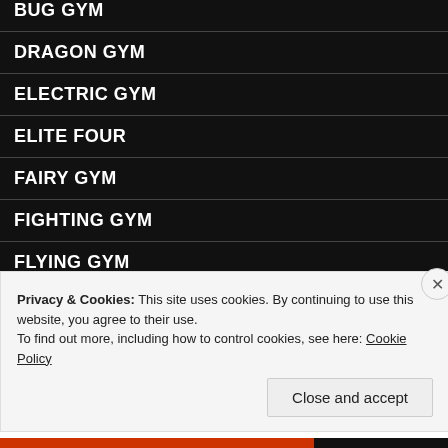BUG GYM
DRAGON GYM
ELECTRIC GYM
ELITE FOUR
FAIRY GYM
FIGHTING GYM
FLYING GYM
GRASS GYM
GROUND GYM
Privacy & Cookies: This site uses cookies. By continuing to use this website, you agree to their use.
To find out more, including how to control cookies, see here: Cookie Policy
Close and accept